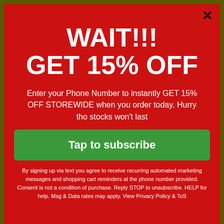WAIT!!! GET 15% OFF
Enter your Phone Number to instantly GET 15% OFF STOREWIDE when you order today. Hurry tho stocks won't last
Tap to subscribe
By signing up via text you agree to receive recurring automated marketing messages and shopping cart reminders at the phone number provided. Consent is not a condition of purchase. Reply STOP to unsubscribe. HELP for help. Msg & Data rates may apply. View Privacy Policy & ToS